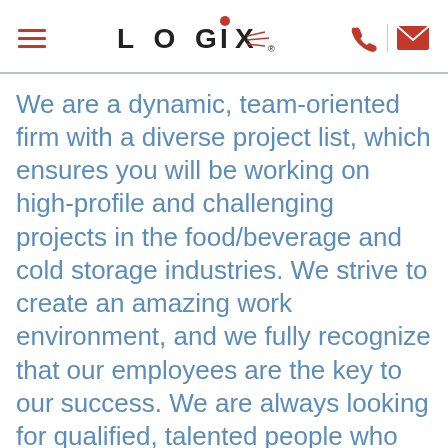LOGIX
We are a dynamic, team-oriented firm with a diverse project list, which ensures you will be working on high-profile and challenging projects in the food/beverage and cold storage industries. We strive to create an amazing work environment, and we fully recognize that our employees are the key to our success. We are always looking for qualified, talented people who are passionate about their work, who will fit into our culture, and who